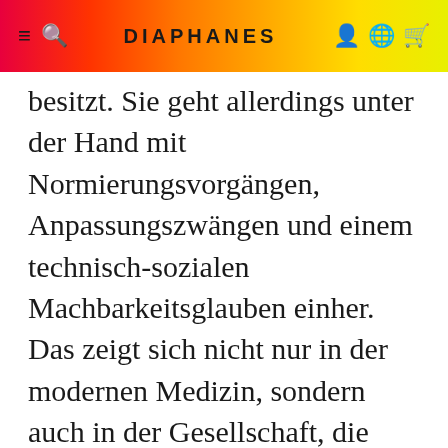DIAPHANES
besitzt. Sie geht allerdings unter der Hand mit Normierungsvorgängen, Anpassungszwängen und einem technisch-sozialen Machbarkeitsglauben einher. Das zeigt sich nicht nur in der modernen Medizin, sondern auch in der Gesellschaft, die ständig mit ihrer eigenen Diagnose befasst ist und sich durch ein pursuit of perfection auszeichnet: Politische Konflikte und gesellschaftliche